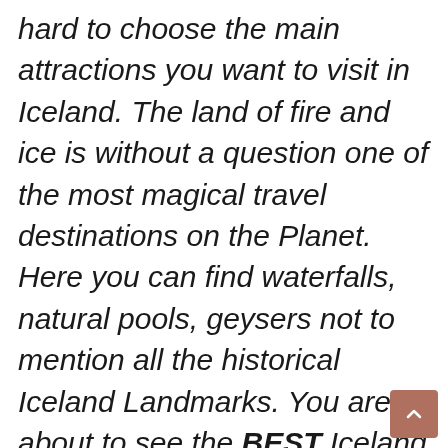hard to choose the main attractions you want to visit in Iceland. The land of fire and ice is without a question one of the most magical travel destinations on the Planet. Here you can find waterfalls, natural pools, geysers not to mention all the historical Iceland Landmarks. You are about to see the BEST Iceland Landmarks for your bucket list!